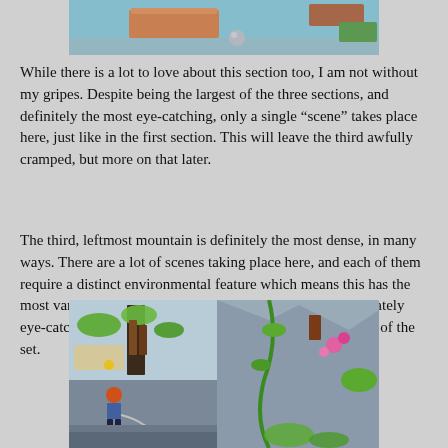[Figure (photo): Top portion of a LEGO set photo showing part of a scene with colorful LEGO bricks including orange, teal, and green pieces on a grey background]
While there is a lot to love about this section too, I am not without my gripes. Despite being the largest of the three sections, and definitely the most eye-catching, only a single “scene” takes place here, just like in the first section. This will leave the third awfully cramped, but more on that later.
The third, leftmost mountain is definitely the most dense, in many ways. There are a lot of scenes taking place here, and each of them require a distinct environmental feature which means this has the most variety crammed in, too. Despite not being as immediately eye-catching as the central section, this is my favourite part of the set.
[Figure (photo): LEGO set photo showing a mountain/jungle scene with green vine/plant pieces, grey rock elements, a minifigure with orange hair, and various colorful LEGO accessories including pink flowers and brown log pieces]